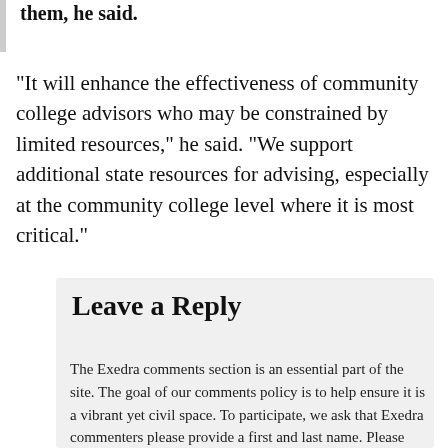them, he said.
“It will enhance the effectiveness of community college advisors who may be constrained by limited resources,” he said. “We support additional state resources for advising, especially at the community college level where it is most critical.”
Leave a Reply
The Exedra comments section is an essential part of the site. The goal of our comments policy is to help ensure it is a vibrant yet civil space. To participate, we ask that Exedra commenters please provide a first and last name. Please note that comments expressing congratulations or condolences may be published without full names. (View our full Comments Policy.)